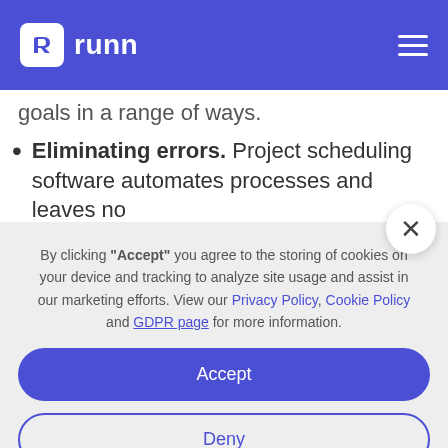runn
goals in a range of ways.
Eliminating errors. Project scheduling software automates processes and leaves no
By clicking “Accept” you agree to the storing of cookies on your device and tracking to analyze site usage and assist in our marketing efforts. View our Privacy Policy, Cookie Policy and GDPR page for more information.
Accept
Deny
Preferences